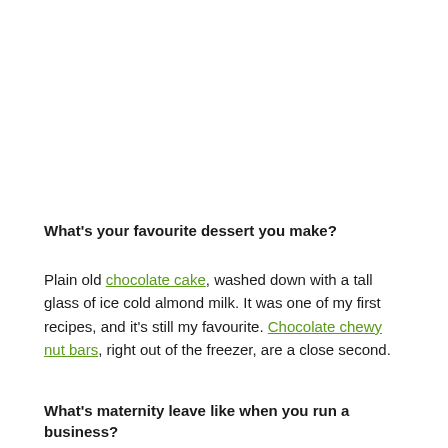What's your favourite dessert you make?
Plain old chocolate cake, washed down with a tall glass of ice cold almond milk. It was one of my first recipes, and it's still my favourite. Chocolate chewy nut bars, right out of the freezer, are a close second.
What's maternity leave like when you run a business?